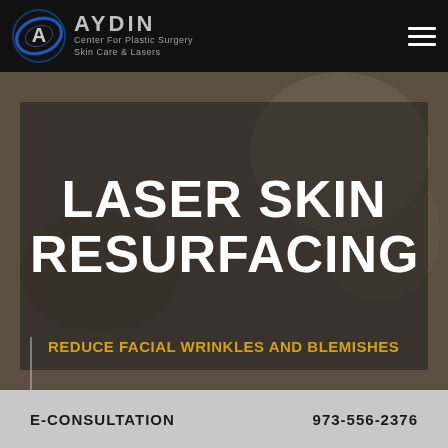AYDIN Center For Plastic Surgery Skin Care & Lasers
LASER SKIN RESURFACING
REDUCE FACIAL WRINKLES AND BLEMISHES
Also known as laser peel, this procedure allows for extreme precision on delicate areas of the face.
AM I A CANDIDATE FOR LASER SKIN
E-CONSULTATION    973-556-2376